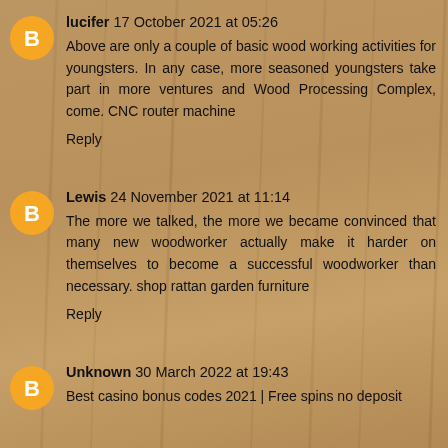lucifer  17 October 2021 at 05:26
Above are only a couple of basic wood working activities for youngsters. In any case, more seasoned youngsters take part in more ventures and Wood Processing Complex, come. CNC router machine
Reply
Lewis  24 November 2021 at 11:14
The more we talked, the more we became convinced that many new woodworker actually make it harder on themselves to become a successful woodworker than necessary. shop rattan garden furniture
Reply
Unknown  30 March 2022 at 19:43
Best casino bonus codes 2021 | Free spins no deposit